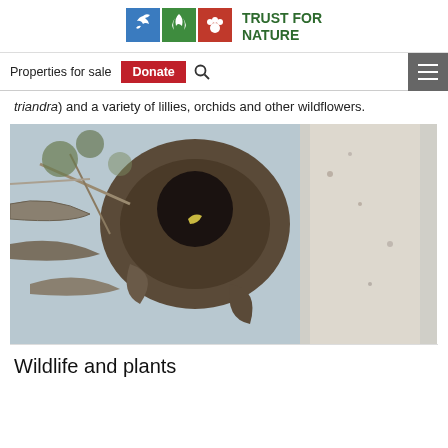[Figure (logo): Trust for Nature logo with three colored icon boxes (blue, green, red) and green text 'TRUST FOR NATURE']
Properties for sale  Donate  [search icon]  [hamburger menu]
triandra) and a variety of lillies, orchids and other wildflowers.
[Figure (photo): A bird (appears to be a parrot or cockatoo) peering out from a hollow in a large eucalyptus tree trunk, with branches and pale bark visible in the background.]
Wildlife and plants